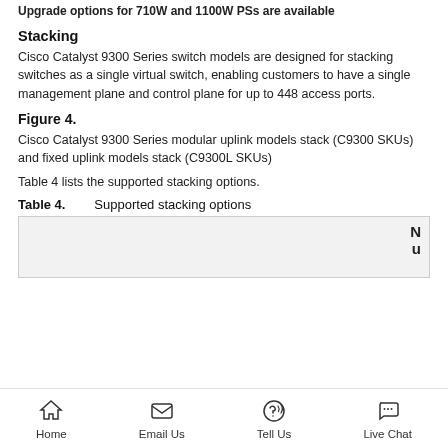Upgrade options for 710W and 1100W PSs are available
Stacking
Cisco Catalyst 9300 Series switch models are designed for stacking switches as a single virtual switch, enabling customers to have a single management plane and control plane for up to 448 access ports.
Figure 4.
Cisco Catalyst 9300 Series modular uplink models stack (C9300 SKUs) and fixed uplink models stack (C9300L SKUs)
Table 4 lists the supported stacking options.
Table 4.    Supported stacking options
| N | u |
| --- | --- |
Home  Email Us  Tell Us  Live Chat